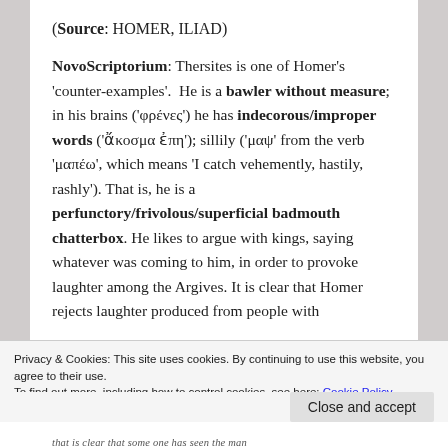(Source: HOMER, ILIAD)
NovoScriptorium: Thersites is one of Homer’s ‘counter-examples’. He is a bawler without measure; in his brains (‘φρένες’) he has indecorous/improper words (‘ἄκοσμα ἐπη’); sillily (‘μαψ’ from the verb ‘μαπέω’, which means ‘I catch vehemently, hastily, rashly’). That is, he is a perfunctory/frivolous/superficial badmouth chatterbox. He likes to argue with kings, saying whatever was coming to him, in order to provoke laughter among the Argives. It is clear that Homer rejects laughter produced from people with
Privacy & Cookies: This site uses cookies. By continuing to use this website, you agree to their use.
To find out more, including how to control cookies, see here: Cookie Policy
Close and accept